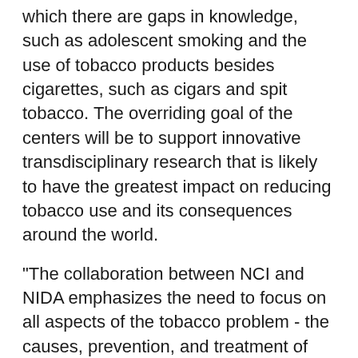which there are gaps in knowledge, such as adolescent smoking and the use of tobacco products besides cigarettes, such as cigars and spit tobacco. The overriding goal of the centers will be to support innovative transdisciplinary research that is likely to have the greatest impact on reducing tobacco use and its consequences around the world.
"The collaboration between NCI and NIDA emphasizes the need to focus on all aspects of the tobacco problem - the causes, prevention, and treatment of nicotine addiction and the dramatic health consequences of tobacco use," says NIDA Director Dr. Alan I. Leshner. "By taking a comprehensive approach to the problem, these centers will accelerate the development of broadly effective tobacco use prevention and treatment interventions."